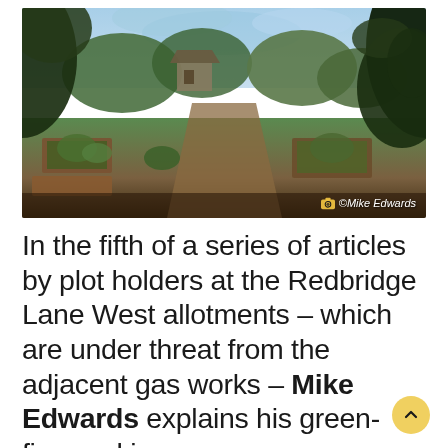[Figure (photo): Outdoor allotment garden showing raised vegetable beds with a central path, a pergola structure in the background, trees framing the sides, taken on a sunny day. Photo credit: ©Mike Edwards]
In the fifth of a series of articles by plot holders at the Redbridge Lane West allotments – which are under threat from the adjacent gas works – Mike Edwards explains his green-fingered journey